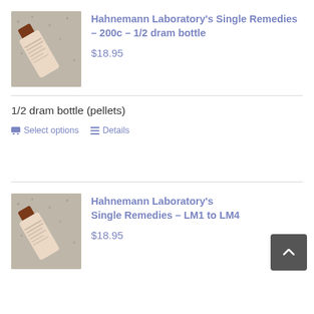[Figure (photo): Photo of a homeopathic remedy bottle on a granite/stone surface]
Hahnemann Laboratory's Single Remedies – 200c – 1/2 dram bottle
$18.95
1/2 dram bottle (pellets)
Select options
Details
[Figure (photo): Photo of a homeopathic remedy bottle on a granite/stone surface]
Hahnemann Laboratory's Single Remedies – LM1 to LM4
$18.95